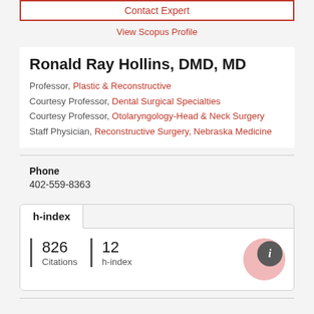Contact Expert
View Scopus Profile
Ronald Ray Hollins, DMD, MD
Professor, Plastic & Reconstructive
Courtesy Professor, Dental Surgical Specialties
Courtesy Professor, Otolaryngology-Head & Neck Surgery
Staff Physician, Reconstructive Surgery, Nebraska Medicine
Phone
402-559-8363
h-index
826 Citations
12 h-index